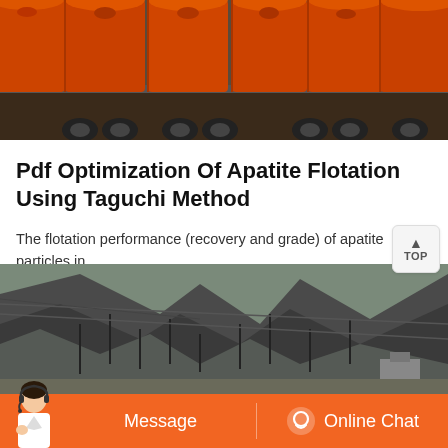[Figure (photo): Orange industrial flotation tanks/cylinders loaded on a flatbed truck, being transported on a road. Multiple large orange cylindrical tanks visible from the side.]
Pdf Optimization Of Apatite Flotation Using Taguchi Method
The flotation performance (recovery and grade) of apatite particles in Esfordi Phosphate Complex was investigated as a function of collector ratio and dosage, pH, depressant dosage, depressant...
[Figure (photo): Mountain valley landscape with rocky cliffs, sparse trees, and what appears to be a mining or industrial site. Dark rocky terrain with some structures visible at the base of the mountains.]
[Figure (other): Website footer bar with orange background showing a customer service agent on the left, a Message button in the center-left, and an Online Chat button with chat icon on the right.]